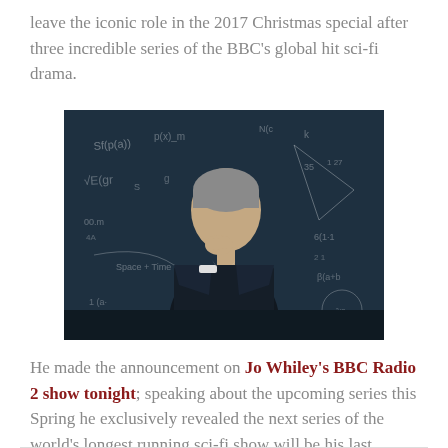leave the iconic role in the 2017 Christmas special after three incredible series of the BBC's global hit sci-fi drama.
[Figure (photo): A man in a dark suit standing thoughtfully in front of a blackboard covered in mathematical equations and diagrams, with his hand raised to his chin.]
He made the announcement on Jo Whiley's BBC Radio 2 show tonight; speaking about the upcoming series this Spring he exclusively revealed the next series of the world's longest running sci-fi show will be his last.